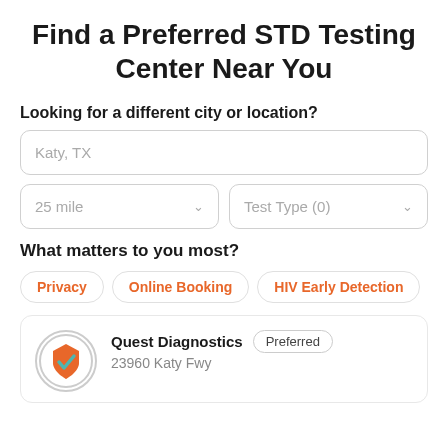Find a Preferred STD Testing Center Near You
Looking for a different city or location?
Katy, TX
25 mile
Test Type (0)
What matters to you most?
Privacy
Online Booking
HIV Early Detection
Quest Diagnostics   Preferred
23960 Katy Fwy